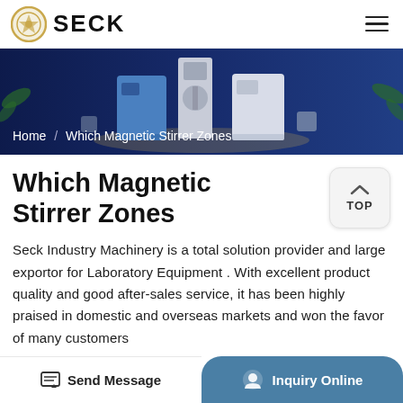[Figure (logo): SECK company logo with golden circular emblem and bold SECK text]
[Figure (photo): Banner image showing laboratory equipment machines on a dark blue background]
Home / Which Magnetic Stirrer Zones
Which Magnetic Stirrer Zones
Seck Industry Machinery is a total solution provider and large exportor for Laboratory Equipment . With excellent product quality and good after-sales service, it has been highly praised in domestic and overseas markets and won the favor of many customers
Send Message
Inquiry Online